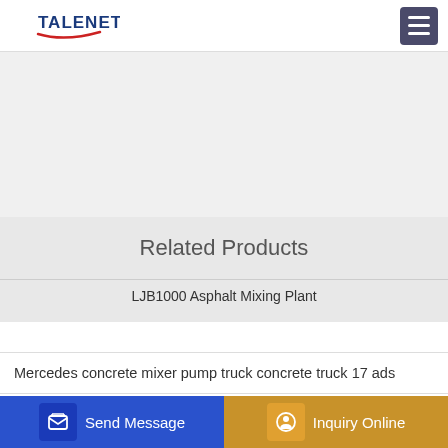TALENET
[Figure (other): Gray banner/advertisement space below header navigation]
Related Products
LJB1000 Asphalt Mixing Plant
Mercedes concrete mixer pump truck concrete truck 17 ads
60-2 H Concrete Ready Mix Plant Automatic Concrete Mixer
28m Dongfeng Chassis Concrete Pump Truck for sale Cheap Price
Send Message | Inquiry Online